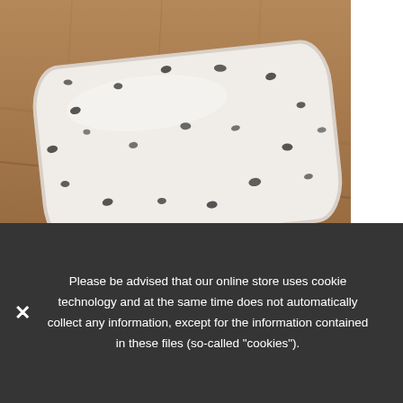[Figure (photo): A white pillow with small black dot/dash pattern lying on a wooden surface, photographed from above at an angle.]
Pillow for a sleeping bag – 145x70 cm
PLN 85.00
ADD TO CART
Please be advised that our online store uses cookie technology and at the same time does not automatically collect any information, except for the information contained in these files (so-called "cookies").